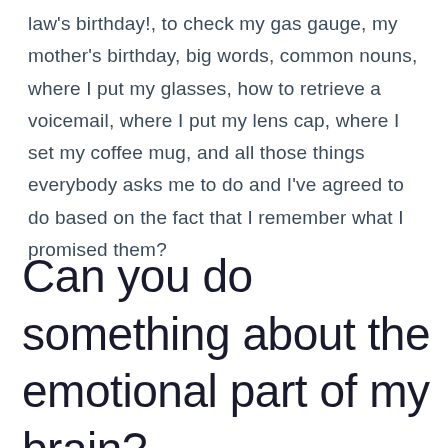law's birthday!, to check my gas gauge, my mother's birthday, big words, common nouns, where I put my glasses, how to retrieve a voicemail, where I put my lens cap, where I set my coffee mug, and all those things everybody asks me to do and I've agreed to do based on the fact that I remember what I promised them?
Can you do something about the emotional part of my brain?